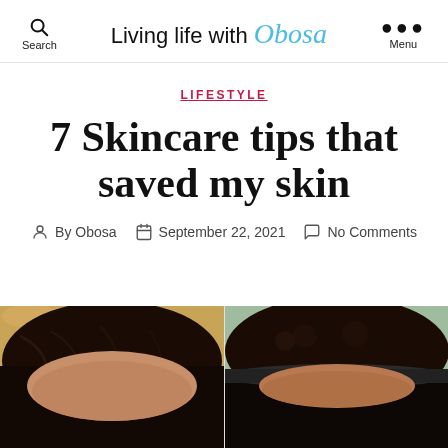Search | Living life with Obosa | Menu
LIFESTYLE
7 Skincare tips that saved my skin
By Obosa   September 22, 2021   No Comments
[Figure (photo): Split before-and-after photo showing two people's hairlines and foreheads from close up — left side shows straight dark hair, right side shows curly dark hair with a headband.]